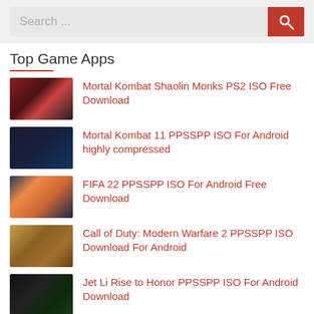[Figure (screenshot): Search bar with text 'Search ...' and red search button icon]
Top Game Apps
Mortal Kombat Shaolin Monks PS2 ISO Free Download
Mortal Kombat 11 PPSSPP ISO For Android highly compressed
FIFA 22 PPSSPP ISO For Android Free Download
Call of Duty: Modern Warfare 2 PPSSPP ISO Download For Android
Jet Li Rise to Honor PPSSPP ISO For Android Download
Spiderman Miles Morales PPSSPP ISO Download For Android